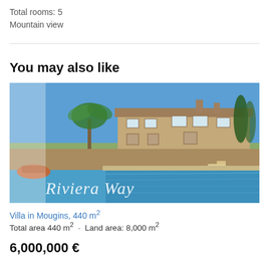Total rooms: 5
Mountain view
You may also like
[Figure (photo): Exterior photo of a stone villa with pool and palm trees, branded with 'Riviera Way' watermark text overlaying a blue swimming pool in the foreground and a large Provençal-style stone house under a clear blue sky.]
Villa in Mougins, 440 m²
Total area 440 m²  ·  Land area: 8,000 m²
6,000,000 €